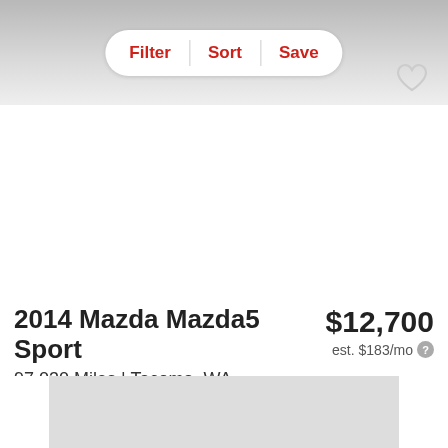[Figure (screenshot): Top navigation bar with Filter, Sort, Save buttons and heart/favorite icon]
2014 Mazda Mazda5 Sport
$12,700
97,030 Miles | Tacoma, WA
est. $183/mo
Track Price   Check Availability
[Figure (photo): Partial car listing image at bottom of page, gray placeholder]